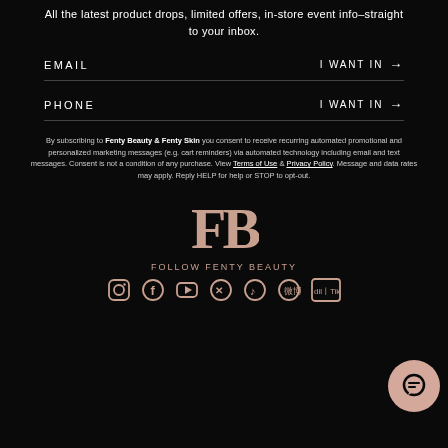All the latest product drops, limited offers, in-store event info–straight to your inbox.
EMAIL   I WANT IN →
PHONE   I WANT IN →
By subscribing to Fenty Beauty & Fenty Skin you consent to receive recurring automated promotional and personalized marketing messages (e.g. cart reminders) via automated technology including email and text messages. Consent is not a condition of any purchase. View Terms of Use & Privacy Policy. Message and data rates may apply. Reply HELP for help or STOP to opt-out.
[Figure (logo): FB Fenty Beauty logo in rose/pink on black background]
FOLLOW FENTY BEAUTY
[Figure (infographic): Row of social media icons: Instagram, Facebook, YouTube, Twitter, TikTok, Weibo, another platform]